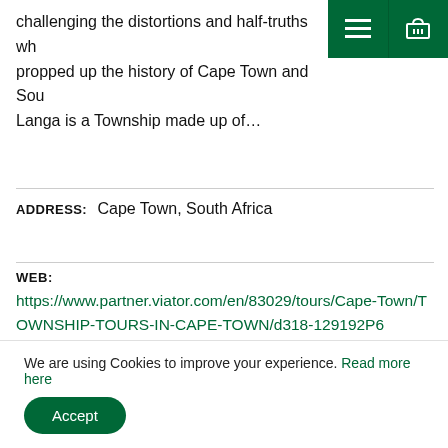challenging the distortions and half-truths wh... propped up the history of Cape Town and Sou... Langa is a Township made up of...
ADDRESS: Cape Town, South Africa
WEB: https://www.partner.viator.com/en/83029/tours/Cape-Town/TOWNSHIP-TOURS-IN-CAPE-TOWN/d318-129192P6
CAPE TOWN TOURISM
CULTURAL
CULTURAL TOURISM CAPE TOWN
GROUP TOURS
GROUP TOURS CAPE TOWN
HISTORICAL
HISTORICAL TOURISM CAPE TOWN
MUSEUMS
We are using Cookies to improve your experience. Read more here
Accept